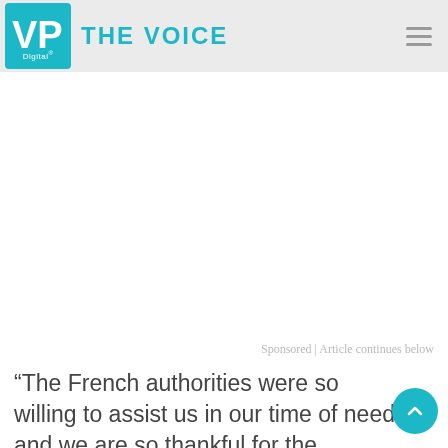VP Digital | THE VOICE
[Figure (other): Advertisement / sponsored content area (blank white space)]
Sponsored | Article continues below
“The French authorities were so willing to assist us in our time of need and we are so thankful for the